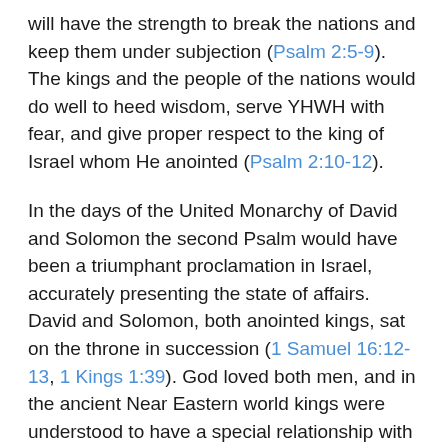will have the strength to break the nations and keep them under subjection (Psalm 2:5-9). The kings and the people of the nations would do well to heed wisdom, serve YHWH with fear, and give proper respect to the king of Israel whom He anointed (Psalm 2:10-12).
In the days of the United Monarchy of David and Solomon the second Psalm would have been a triumphant proclamation in Israel, accurately presenting the state of affairs. David and Solomon, both anointed kings, sat on the throne in succession (1 Samuel 16:12-13, 1 Kings 1:39). God loved both men, and in the ancient Near Eastern world kings were understood to have a special relationship with the divine, and could be seen as (adopted) sons of God (1 Samuel 13:14, 2 Samuel 12:24-25). YHWH had given David victory over all his foes and Solomon peace in his days (2 Samuel 8:1-18, 1 Kings...